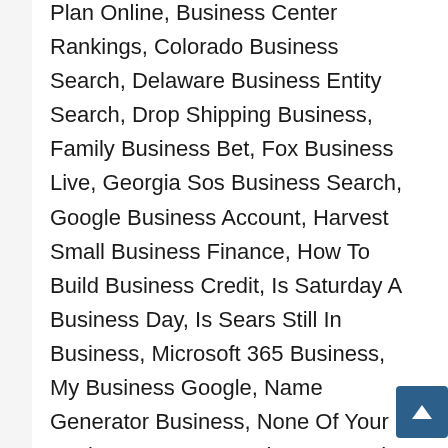Plan Online, Business Center Rankings, Colorado Business Search, Delaware Business Entity Search, Drop Shipping Business, Family Business Bet, Fox Business Live, Georgia Sos Business Search, Google Business Account, Harvest Small Business Finance, How To Build Business Credit, Is Saturday A Business Day, Is Sears Still In Business, Microsoft 365 Business, My Business Google, Name Generator Business, None Of Your Business, Ny Sos Business Search, Open A Business Bank Account, Pa Business Search, Plus Size Business Casual, Pnc Business Banking, Sos Business Search Ca, Sunbiz Business Search, Taking Care Of Business, The Business Of Being Born, Turbotax Home And Business 2020, Tx Sos Business Search, Venmo For Business, Verizon